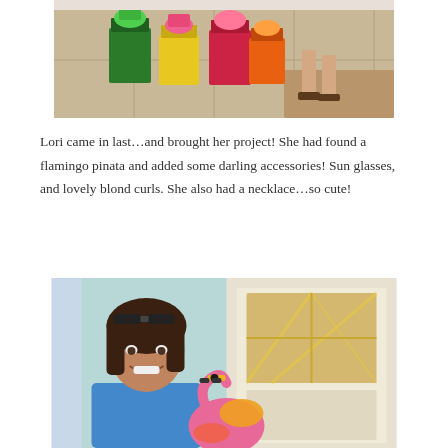[Figure (photo): Colorful gift bags (green, yellow, pink, red) sitting on a tiled floor with a person's feet in sandals visible in the background]
Lori came in last…and brought her project!  She had found a flamingo pinata and added some darling accessories!  Sun glasses, and lovely blond curls. She also had a necklace…so cute!
[Figure (photo): A smiling brunette woman with sunglasses on her head standing indoors, holding a colorful flamingo pinata decorated with accessories]